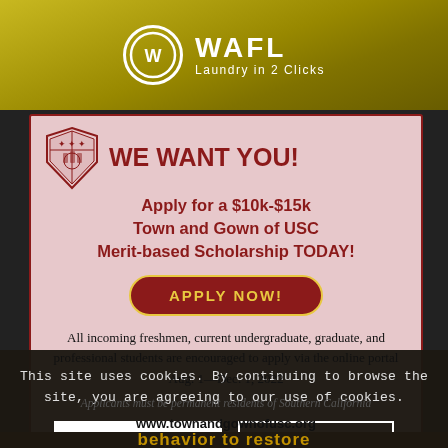[Figure (logo): WAFL — Laundry in 2 Clicks banner advertisement with yellow flower background and circular W logo]
[Figure (infographic): Town and Gown of USC scholarship advertisement with USC shield logo, graduation photo background, and call to action button]
This site uses cookies. By continuing to browse the site, you are agreeing to our use of cookies.
Accept settings
Do Not Accept
behavior to restore